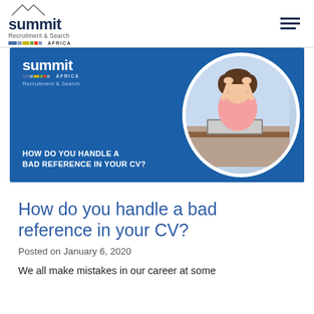summit Recruitment & Search AFRICA
[Figure (screenshot): Summit Recruitment & Search Africa banner image showing the logo on a blue background with white text 'HOW DO YOU HANDLE A BAD REFERENCE IN YOUR CV?' and a circular photo of a stressed woman sitting at a laptop with her hands on her head.]
How do you handle a bad reference in your CV?
Posted on January 6, 2020
We all make mistakes in our career at some